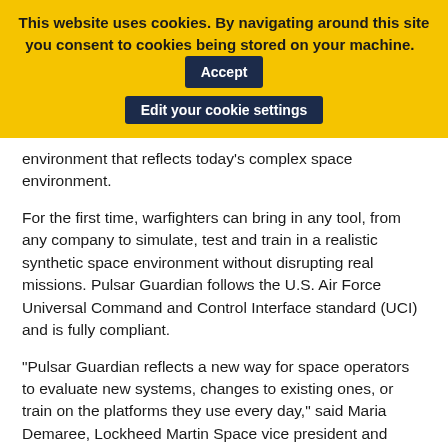This website uses cookies. By navigating around this site you consent to cookies being stored on your machine. Accept Edit your cookie settings
environment that reflects today’s complex space environment.
For the first time, warfighters can bring in any tool, from any company to simulate, test and train in a realistic synthetic space environment without disrupting real missions. Pulsar Guardian follows the U.S. Air Force Universal Command and Control Interface standard (UCI) and is fully compliant.
“Pulsar Guardian reflects a new way for space operators to evaluate new systems, changes to existing ones, or train on the platforms they use every day,” said Maria Demaree, Lockheed Martin Space vice president and general manager of Mission Solutions. “Wargaming and training have never been as immersive – it’s a game changer.”